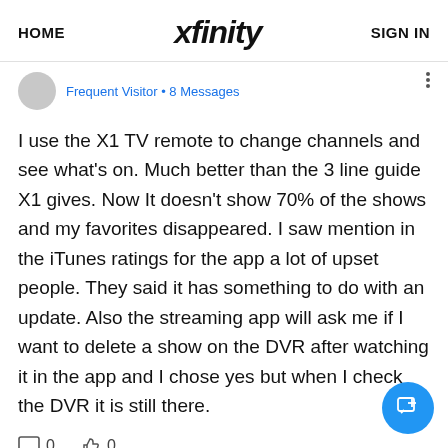HOME   xfinity   SIGN IN
Frequent Visitor • 8 Messages
I use the X1 TV remote to change channels and see what's on. Much better than the 3 line guide X1 gives. Now It doesn't show 70% of the shows and my favorites disappeared. I saw mention in the iTunes ratings for the app a lot of upset people. They said it has something to do with an update. Also the streaming app will ask me if I want to delete a show on the DVR after watching it in the app and I chose yes but when I check the DVR it is still there.
0   0